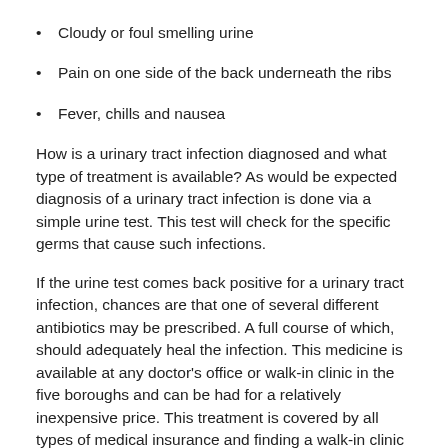Cloudy or foul smelling urine
Pain on one side of the back underneath the ribs
Fever, chills and nausea
How is a urinary tract infection diagnosed and what type of treatment is available? As would be expected diagnosis of a urinary tract infection is done via a simple urine test. This test will check for the specific germs that cause such infections.
If the urine test comes back positive for a urinary tract infection, chances are that one of several different antibiotics may be prescribed. A full course of which, should adequately heal the infection. This medicine is available at any doctor's office or walk-in clinic in the five boroughs and can be had for a relatively inexpensive price. This treatment is covered by all types of medical insurance and finding a walk-in clinic to accept your specific coverage should be an easy thing to do.